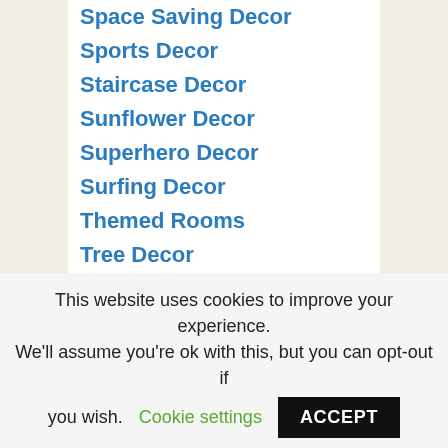Space Saving Decor
Sports Decor
Staircase Decor
Sunflower Decor
Superhero Decor
Surfing Decor
Themed Rooms
Tree Decor
Urban Decor
Wealth Decor
Wedding Decor
This website uses cookies to improve your experience. We'll assume you're ok with this, but you can opt-out if you wish.
Cookie settings
ACCEPT